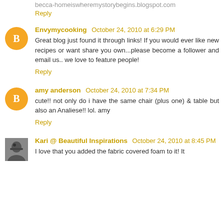becca-homeiswheremystorybegins.blogspot.com
Reply
Envymycooking  October 24, 2010 at 6:29 PM
Great blog just found it through links! If you would ever like new recipes or want share you own...please become a follower and email us.. we love to feature people!
Reply
amy anderson  October 24, 2010 at 7:34 PM
cute!! not only do i have the same chair (plus one) & table but also an Analiese!! lol. amy
Reply
Kari @ Beautiful Inspirations  October 24, 2010 at 8:45 PM
I love that you added the fabric covered foam to it! It